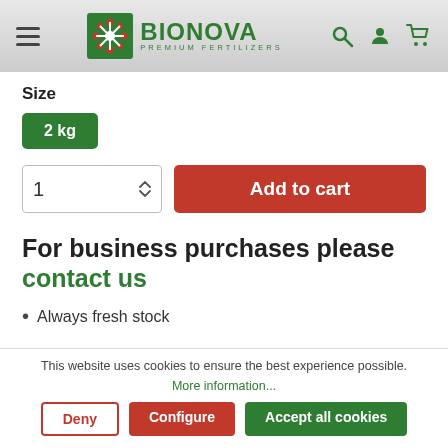[Figure (logo): Bionova Premium Fertilizers logo with green snowflake icon and green text]
Size
2 kg
1
Add to cart
For business purchases please contact us
Always fresh stock
This website uses cookies to ensure the best experience possible. More information...
Deny
Configure
Accept all cookies